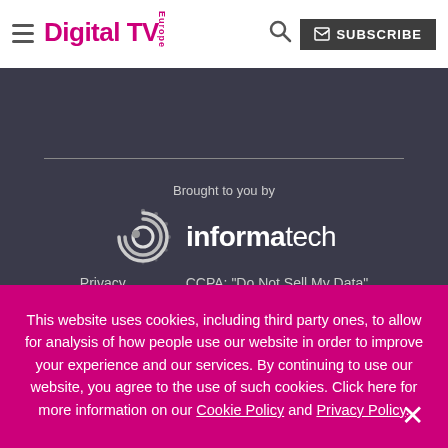Digital TV Europe — navigation bar with hamburger menu, logo, search icon, and SUBSCRIBE button
[Figure (logo): Informa Tech logo with circular swirl graphic and text 'Brought to you by informa tech']
Privacy   CCPA: "Do Not Sell My Data"
This website uses cookies, including third party ones, to allow for analysis of how people use our website in order to improve your experience and our services. By continuing to use our website, you agree to the use of such cookies. Click here for more information on our Cookie Policy and Privacy Policy.